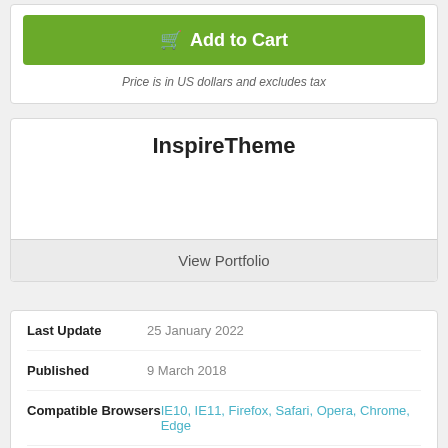[Figure (other): Green Add to Cart button with shopping cart icon]
Price is in US dollars and excludes tax
InspireTheme
View Portfolio
| Field | Value |
| --- | --- |
| Last Update | 25 January 2022 |
| Published | 9 March 2018 |
| Compatible Browsers | IE10, IE11, Firefox, Safari, Opera, Chrome, Edge |
| Software Framework | Gantry |